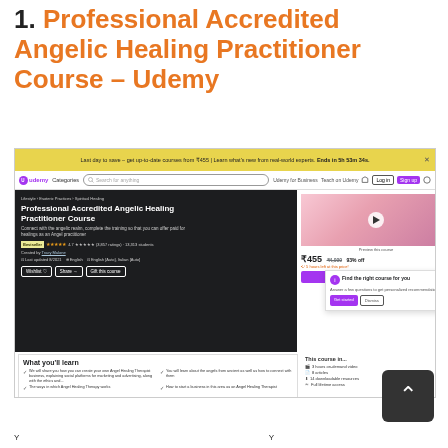1. Professional Accredited Angelic Healing Practitioner Course – Udemy
[Figure (screenshot): Screenshot of the Udemy course page for 'Professional Accredited Angelic Healing Practitioner Course', showing navigation bar, course title, rating, price (₹455), Add to cart button, and What you'll learn section.]